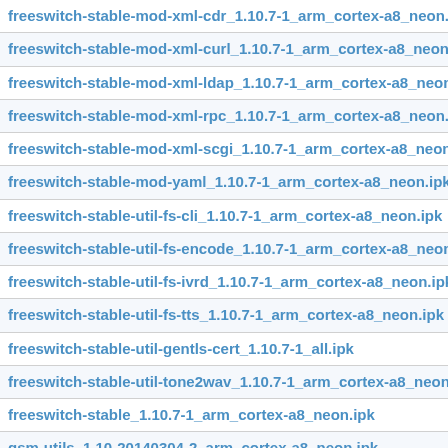freeswitch-stable-mod-xml-cdr_1.10.7-1_arm_cortex-a8_neon.ipk
freeswitch-stable-mod-xml-curl_1.10.7-1_arm_cortex-a8_neon.ipk
freeswitch-stable-mod-xml-ldap_1.10.7-1_arm_cortex-a8_neon.ipk
freeswitch-stable-mod-xml-rpc_1.10.7-1_arm_cortex-a8_neon.ipk
freeswitch-stable-mod-xml-scgi_1.10.7-1_arm_cortex-a8_neon.ipk
freeswitch-stable-mod-yaml_1.10.7-1_arm_cortex-a8_neon.ipk
freeswitch-stable-util-fs-cli_1.10.7-1_arm_cortex-a8_neon.ipk
freeswitch-stable-util-fs-encode_1.10.7-1_arm_cortex-a8_neon.ipk
freeswitch-stable-util-fs-ivrd_1.10.7-1_arm_cortex-a8_neon.ipk
freeswitch-stable-util-fs-tts_1.10.7-1_arm_cortex-a8_neon.ipk
freeswitch-stable-util-gentls-cert_1.10.7-1_all.ipk
freeswitch-stable-util-tone2wav_1.10.7-1_arm_cortex-a8_neon.ipk
freeswitch-stable_1.10.7-1_arm_cortex-a8_neon.ipk
gsm-utils_1.10-20140304-2_arm_cortex-a8_neon.ipk
gsmlib_1.10-20140304-2_arm_cortex-a8_neon.ipk
kamailio5-lib-libkamailio-ims_5.2.1-2_arm_cortex-a8_neon.ipk
kamailio5-lib-libtrie_5.2.1-2_arm_cortex-a8_neon.ipk
kamailio5-mod-acc-diameter_5.2.1-2_arm_cortex-a8_neon.ipk
kamailio5-mod-acc-json_5.2.1-2_arm_cortex-a8_neon.ipk
kamailio5-mod-acc_5.2.1-2_arm_cortex-a8_neon.ipk